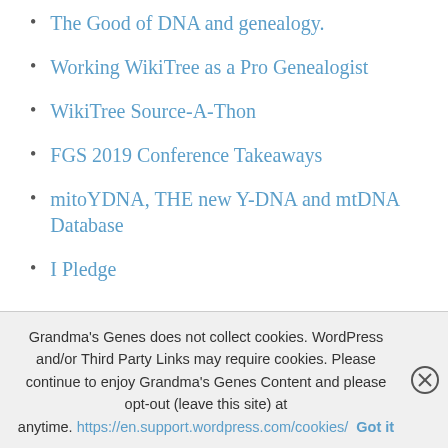The Good of DNA and genealogy.
Working WikiTree as a Pro Genealogist
WikiTree Source-A-Thon
FGS 2019 Conference Takeaways
mitoYDNA, THE new Y-DNA and mtDNA Database
I Pledge
Grandma's Genes does not collect cookies. WordPress and/or Third Party Links may require cookies. Please continue to enjoy Grandma's Genes Content and please opt-out (leave this site) at anytime. https://en.support.wordpress.com/cookies/ Got it